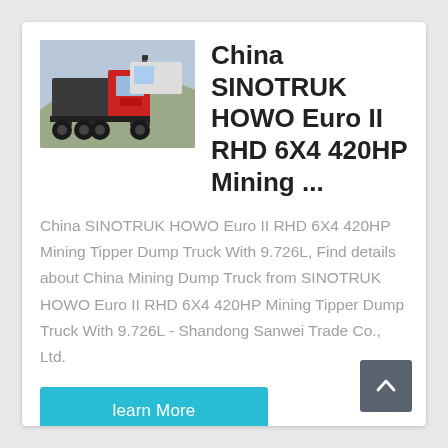[Figure (photo): Rear view of a SINOTRUK HOWO heavy mining dump truck/tractor in an outdoor industrial area]
China SINOTRUK HOWO Euro II RHD 6X4 420HP Mining ...
China SINOTRUK HOWO Euro II RHD 6X4 420HP Mining Tipper Dump Truck With 9.726L, Find details about China Mining Dump Truck from SINOTRUK HOWO Euro II RHD 6X4 420HP Mining Tipper Dump Truck With 9.726L - Shandong Sanwei Trade Co., Ltd.
learn More